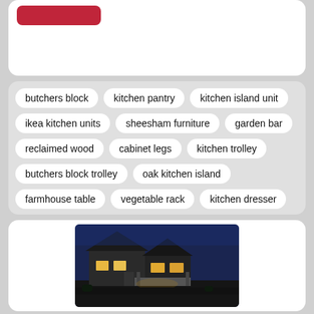[Figure (screenshot): Top white card with a red button partially visible at top]
butchers block
kitchen pantry
kitchen island unit
ikea kitchen units
sheesham furniture
garden bar
reclaimed wood
cabinet legs
kitchen trolley
butchers block trolley
oak kitchen island
farmhouse table
vegetable rack
kitchen dresser
[Figure (photo): A house photographed at night/dusk with lights on, exterior shot]